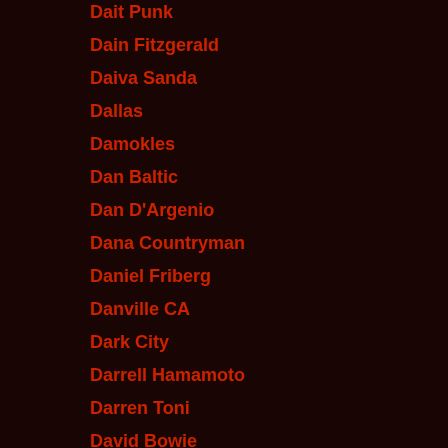Dait Punk
Dain Fitzgerald
Daiva Sanda
Dallas
Damokles
Dan Baltic
Dan D'Argenio
Dana Countryman
Daniel Friberg
Danville CA
Dark City
Darrell Hamamoto
Darren Toni
David Bowie
David Brooks